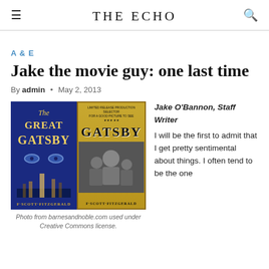THE ECHO
A & E
Jake the movie guy: one last time
By admin • May 2, 2013
[Figure (photo): Two images side by side: left is the book cover of The Great Gatsby by F. Scott Fitzgerald (blue background with eyes and city), right is the movie poster for Gatsby (gold art deco design with cast).]
Photo from barnesandnoble.com used under Creative Commons license.
Jake O'Bannon, Staff Writer
I will be the first to admit that I get pretty sentimental about things. I often tend to be the one